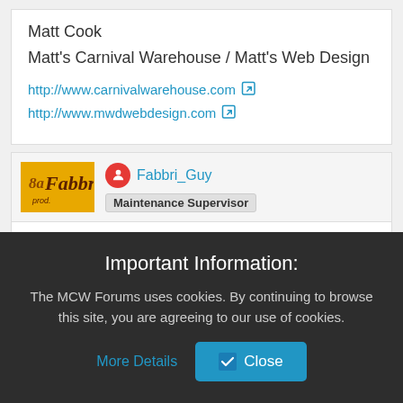Matt Cook
Matt's Carnival Warehouse / Matt's Web Design
http://www.carnivalwarehouse.com
http://www.mwdwebdesign.com
Fabbri_Guy
Maintenance Supervisor
Sunday, October 25, 2015 5:14:09 PM  #6
Important Information:
The MCW Forums uses cookies. By continuing to browse this site, you are agreeing to our use of cookies.
More Details   Close